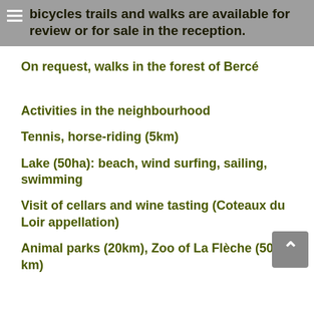bicycles trails and walks are available for review or for sale in the reception.
On request, walks in the forest of Bercé
Activities in the neighbourhood
Tennis, horse-riding (5km)
Lake (50ha): beach, wind surfing, sailing, swimming
Visit of cellars and wine tasting (Coteaux du Loir appellation)
Animal parks (20km), Zoo of La Flèche (50 km)